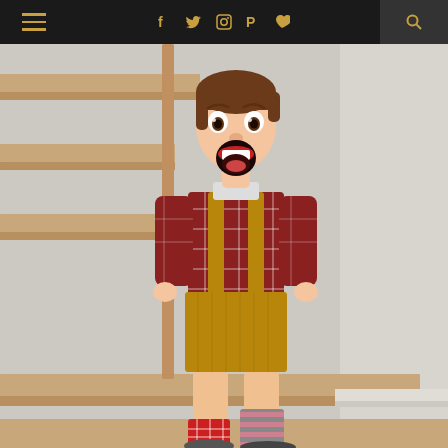Navigation bar with menu, social icons (Facebook, Twitter, Instagram, Pinterest, Bloglovin), and search
[Figure (photo): A young boy standing on wooden stairs with a surprised/excited expression (mouth wide open), wearing a red plaid flannel shirt, tan corduroy suspender shorts, and mismatched socks (one red plaid, one gray/pink striped). The background is a light gray wall with wooden stair railings.]